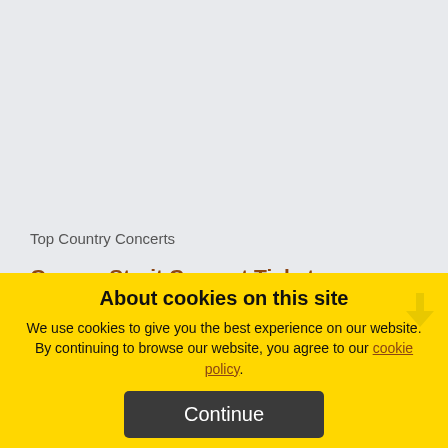Top Country Concerts
George Strait Concert Tickets
Shania Twain Concert Tickets
Taylor Swift Concert Tickets
Brantley Gilbert Concert Tickets
Lady Antebellum Concert Tickets
About cookies on this site
We use cookies to give you the best experience on our website. By continuing to browse our website, you agree to our cookie policy.
Continue